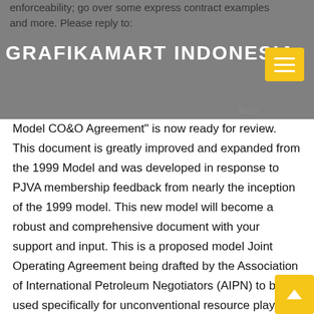enforceability; go over some express contract examples and more. Please reply to:
GRAFIKAMART INDONESIA
Model CO&O Agreement" is now ready for review. This document is greatly improved and expanded from the 1999 Model and was developed in response to PJVA membership feedback from nearly the inception of the 1999 model. This new model will become a robust and comprehensive document with your support and input. This is a proposed model Joint Operating Agreement being drafted by the Association of International Petroleum Negotiators (AIPN) to be used specifically for unconventional resource plays (link).
10 Reminders Remember that your subject will NEVER be there so be careful with unusual word